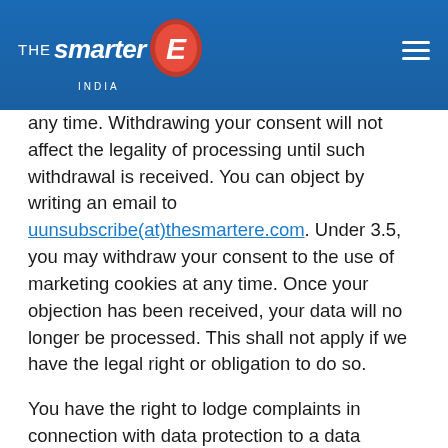THE smarter INDIA [logo with hamburger menu]
any time. Withdrawing your consent will not affect the legality of processing until such withdrawal is received. You can object by writing an email to uunsubscribe(at)thesmartere.com. Under 3.5, you may withdraw your consent to the use of marketing cookies at any time. Once your objection has been received, your data will no longer be processed. This shall not apply if we have the legal right or obligation to do so.
You have the right to lodge complaints in connection with data protection to a data protection authority, in particular to Landesbeauftragter für Datenschutz und Informationsfreiheit, Königstraße 10a, D-70173 Stuttgart.
Date: March, 2020